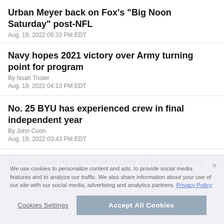Urban Meyer back on Fox's "Big Noon Saturday" post-NFL
Aug. 19, 2022 05:33 PM EDT
Navy hopes 2021 victory over Army turning point for program
By Noah Trister
Aug. 19, 2022 04:13 PM EDT
No. 25 BYU has experienced crew in final independent year
By John Coon
Aug. 19, 2022 03:43 PM EDT
Boise State looks for rebound after surprising down season
By Tim Booth
Aug. 19, 2022 03:13 PM EDT
We use cookies to personalize content and ads, to provide social media features and to analyze our traffic. We also share information about your use of our site with our social media, advertising and analytics partners. Privacy Policy
Cookies Settings | Accept All Cookies